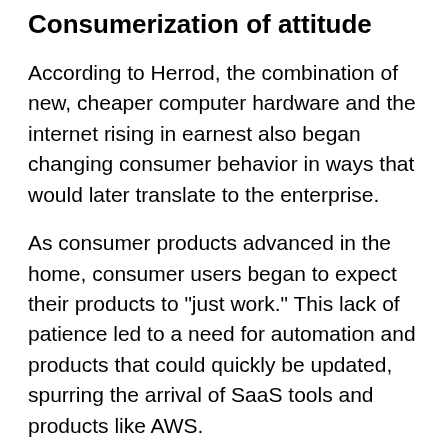Consumerization of attitude
According to Herrod, the combination of new, cheaper computer hardware and the internet rising in earnest also began changing consumer behavior in ways that would later translate to the enterprise.
As consumer products advanced in the home, consumer users began to expect their products to "just work." This lack of patience led to a need for automation and products that could quickly be updated, spurring the arrival of SaaS tools and products like AWS.
The next change is that company leaders began to realize that design and usability matter. Consumer products were designed to be intuitive to drive